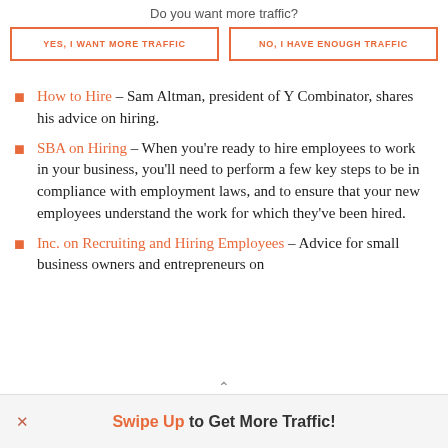Do you want more traffic?
YES, I WANT MORE TRAFFIC
NO, I HAVE ENOUGH TRAFFIC
How to Hire – Sam Altman, president of Y Combinator, shares his advice on hiring.
SBA on Hiring – When you're ready to hire employees to work in your business, you'll need to perform a few key steps to be in compliance with employment laws, and to ensure that your new employees understand the work for which they've been hired.
Inc. on Recruiting and Hiring Employees – Advice for small business owners and entrepreneurs on
Swipe Up to Get More Traffic!